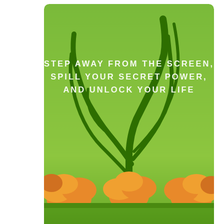[Figure (illustration): Book cover for a book by Bradley Charbonneau. Green background with illustrated tree branches at top. Subtitle text reads 'STEP AWAY FROM THE SCREEN, SPILL YOUR SECRET POWER, AND UNLOCK YOUR LIFE' in white spaced letters. Bottom section shows orange illustrated bushes/shrubs. Author name 'BRADLEY CHARBONNEAU' in large bold white text at bottom. Cover has rounded corners and a drop shadow below.]